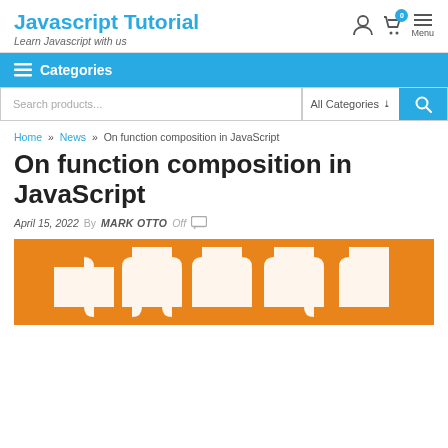Javascript Tutorial - Learn Javascript with us
Categories
Search products... | All Categories
Home » News » On function composition in JavaScript
On function composition in JavaScript
April 15, 2022  By  MARK OTTO  Off
[Figure (photo): White puzzle pieces on orange background]